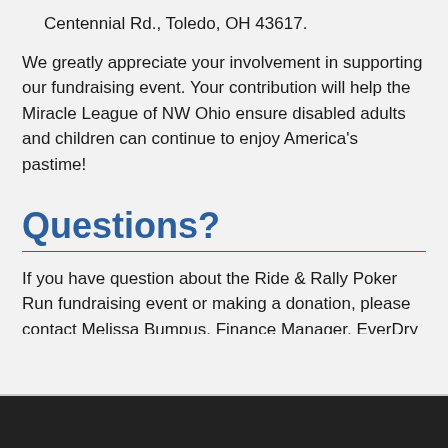Centennial Rd., Toledo, OH 43617.
We greatly appreciate your involvement in supporting our fundraising event. Your contribution will help the Miracle League of NW Ohio ensure disabled adults and children can continue to enjoy America's pastime!
Questions?
If you have question about the Ride & Rally Poker Run fundraising event or making a donation, please contact Melissa Bumpus, Finance Manager, EverDry Toledo, at 419-469-5833.